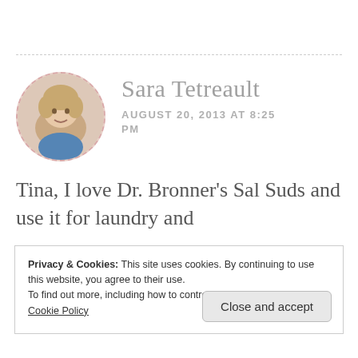[Figure (photo): Circular avatar photo of Sara Tetreault with dashed border]
Sara Tetreault
AUGUST 20, 2013 AT 8:25 PM
Tina, I love Dr. Bronner’s Sal Suds and use it for laundry and
Privacy & Cookies: This site uses cookies. By continuing to use this website, you agree to their use.
To find out more, including how to control cookies, see here:
Cookie Policy
Close and accept
night! I trust all of the Dr.